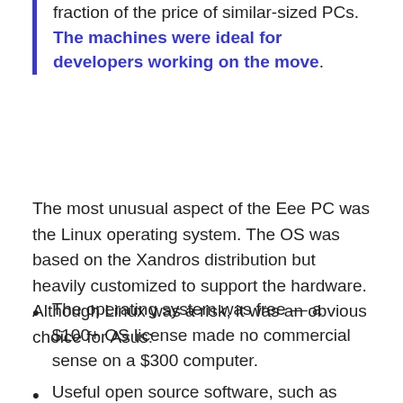fraction of the price of similar-sized PCs. The machines were ideal for developers working on the move.
The most unusual aspect of the Eee PC was the Linux operating system. The OS was based on the Xandros distribution but heavily customized to support the hardware. Although Linux was a risk, it was an obvious choice for Asus:
The operating system was free — a $100+ OS license made no commercial sense on a $300 computer.
Useful open source software, such as Firefox and OpenOffice.org, could be included at no